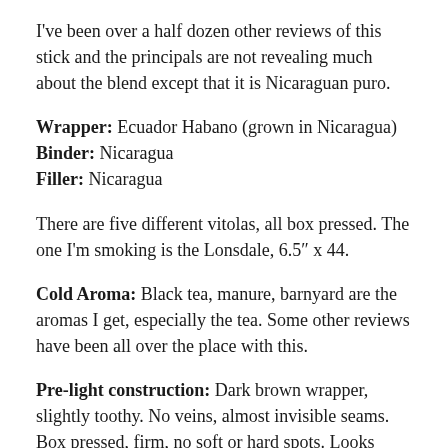I've been over a half dozen other reviews of this stick and the principals are not revealing much about the blend except that it is Nicaraguan puro.
Wrapper: Ecuador Habano (grown in Nicaragua)
Binder: Nicaragua
Filler: Nicaragua
There are five different vitolas, all box pressed. The one I'm smoking is the Lonsdale, 6.5" x 44.
Cold Aroma: Black tea, manure, barnyard are the aromas I get, especially the tea. Some other reviews have been all over the place with this.
Pre-light construction: Dark brown wrapper, slightly toothy. No veins, almost invisible seams. Box pressed, firm, no soft or hard spots. Looks fabulous.